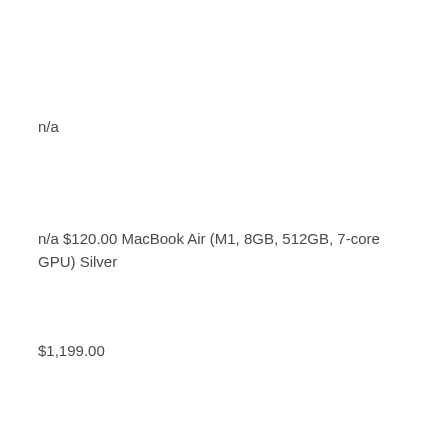n/a
n/a $120.00 MacBook Air (M1, 8GB, 512GB, 7-core GPU) Silver
$1,199.00